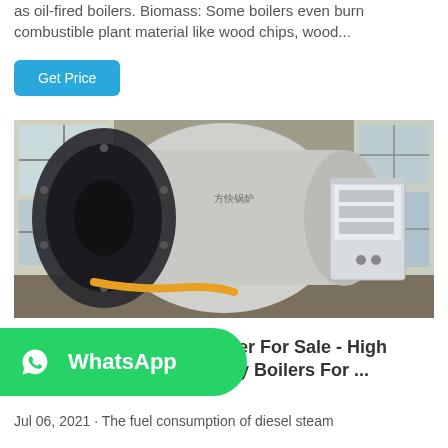as oil-fired boilers. Biomass: Some boilers even burn combustible plant material like wood chips, wood...
Get Price
[Figure (photo): Industrial boiler in a factory setting — large cylindrical vessel with circular front opening, silver/black finish, control cabinet on right, windows visible on left wall]
[Figure (logo): WhatsApp green button with phone icon and 'WhatsApp' text]
n Boiler For Sale - High Quality Boilers For ...
Jul 06, 2021 · The fuel consumption of diesel steam